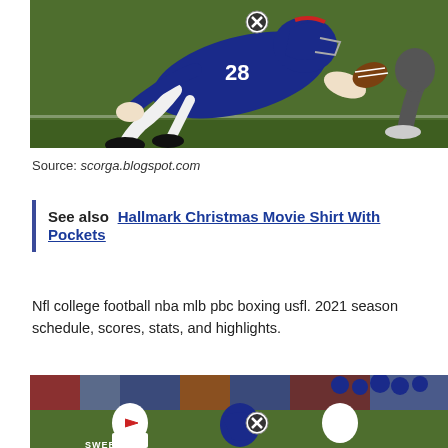[Figure (photo): NFL football player in Buffalo Bills blue uniform diving forward with ball, action shot on green field]
Source: scorga.blogspot.com
See also  Hallmark Christmas Movie Shirt With Pockets
Nfl college football nba mlb pbc boxing usfl. 2021 season schedule, scores, stats, and highlights.
[Figure (photo): NFL football players in Buffalo Bills uniforms on field with crowd in background, player labeled SWEENEY visible]